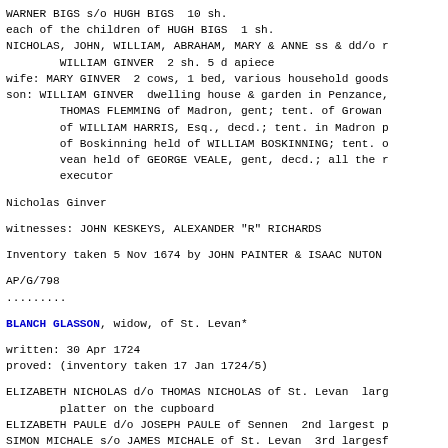WARNER BIGS s/o HUGH BIGS  10 sh.
each of the children of HUGH BIGS  1 sh.
NICHOLAS, JOHN, WILLIAM, ABRAHAM, MARY & ANNE ss & dd/o r
        WILLIAM GINVER  2 sh. 5 d apiece
wife: MARY GINVER  2 cows, 1 bed, various household goods
son: WILLIAM GINVER  dwelling house & garden in Penzance,
        THOMAS FLEMMING of Madron, gent; tent. of Growan
        of WILLIAM HARRIS, Esq., decd.; tent. in Madron p
        of Boskinning held of WILLIAM BOSKINNING; tent. o
        vean held of GEORGE VEALE, gent, decd.; all the r
        executor
Nicholas Ginver
witnesses: JOHN KESKEYS, ALEXANDER "R" RICHARDS
Inventory taken 5 Nov 1674 by JOHN PAINTER & ISAAC NUTON
AP/G/798
.........
BLANCH GLASSON, widow, of St. Levan*
written: 30 Apr 1724
proved: (inventory taken 17 Jan 1724/5)
ELIZABETH NICHOLAS d/o THOMAS NICHOLAS of St. Levan  larg
        platter on the cupboard
ELIZABETH PAULE d/o JOSEPH PAULE of Sennen  2nd largest p
SIMON MICHALE s/o JAMES MICHALE of St. Levan  3rd largesf